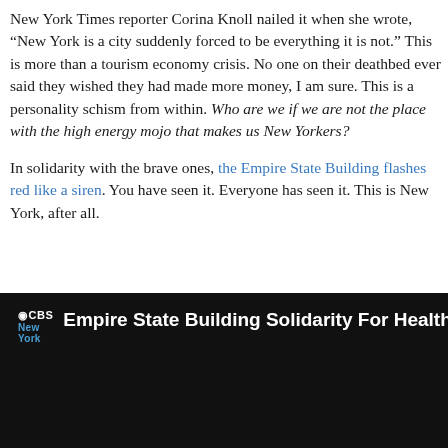New York Times reporter Corina Knoll nailed it when she wrote, “New York is a city suddenly forced to be everything it is not.” This is more than a tourism economy crisis. No one on their deathbed ever said they wished they had made more money, I am sure. This is a personality schism from within. Who are we if we are not the place with the high energy mojo that makes us New Yorkers?
In solidarity with the brave ones, the Empire State Building flashes red like a siren. You have seen it. Everyone has seen it. This is New York, after all.
[Figure (screenshot): CBS New York video thumbnail with black background and white text reading 'Empire State Building Solidarity For Health Care']